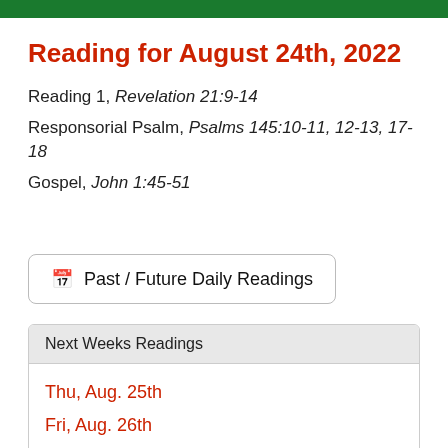Reading for August 24th, 2022
Reading 1, Revelation 21:9-14
Responsorial Psalm, Psalms 145:10-11, 12-13, 17-18
Gospel, John 1:45-51
📅 Past / Future Daily Readings
Next Weeks Readings
Thu, Aug. 25th
Fri, Aug. 26th
Sat, Aug. 27th